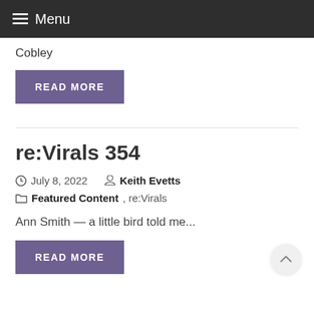≡ Menu
Cobley
READ MORE
re:Virals 354
July 8, 2022   Keith Evetts
Featured Content, re:Virals
Ann Smith — a little bird told me...
READ MORE